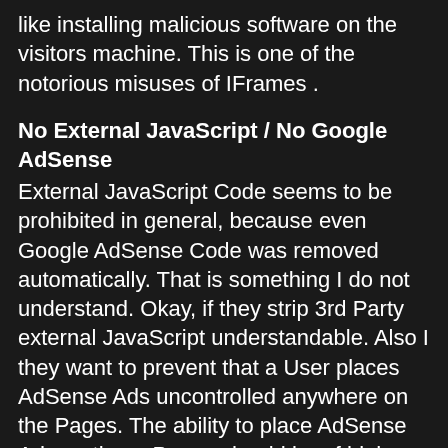like installing malicious software on the visitors machine. This is one of the notorious misuses of IFrames .
No External JavaScript / No Google AdSense
External JavaScript Code seems to be prohibited in general, because even Google AdSense Code was removed automatically. That is something I do not understand. Okay, if they strip 3rd Party external JavaScript understandable. Also I they want to prevent that a User places AdSense Ads uncontrolled anywhere on the Pages. The ability to place AdSense Ads on those Pages should be of high interest by Google since it allows them to increase their Advertising Revenue. Any build in function to place AdSense Ads somewhere into Google Pages is not in sight anywhere. I assume though that this will be coming. It would simply be stupid of Google, if they would not provide this feature to Google Pages users.
No JavaScript allowed at all
Google Pages does not allow any JavaScript to be